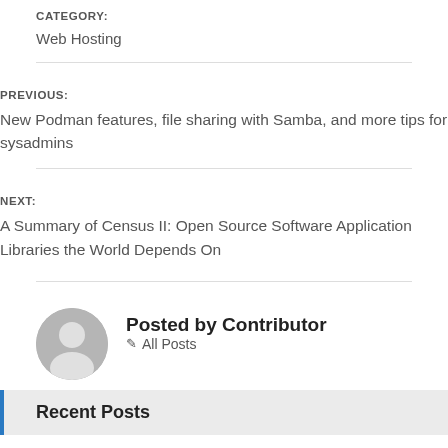CATEGORY:
Web Hosting
PREVIOUS:
New Podman features, file sharing with Samba, and more tips for sysadmins
NEXT:
A Summary of Census II: Open Source Software Application Libraries the World Depends On
Posted by Contributor
All Posts
Recent Posts
How to Install Ajenti Control Panel in Debian and Ubuntu